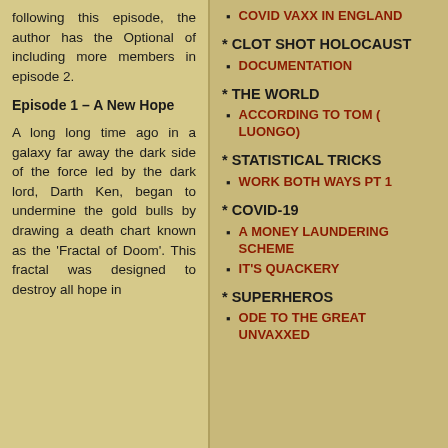following this episode, the author has the Optional of including more members in episode 2.
Episode 1 – A New Hope
A long long time ago in a galaxy far away the dark side of the force led by the dark lord, Darth Ken, began to undermine the gold bulls by drawing a death chart known as the 'Fractal of Doom'. This fractal was designed to destroy all hope in
COVID VAXX IN ENGLAND
* CLOT SHOT HOLOCAUST
DOCUMENTATION
* THE WORLD
ACCORDING TO TOM ( LUONGO)
* STATISTICAL TRICKS
WORK BOTH WAYS PT 1
* COVID-19
A MONEY LAUNDERING SCHEME
IT'S QUACKERY
* SUPERHEROS
ODE TO THE GREAT UNVAXXED